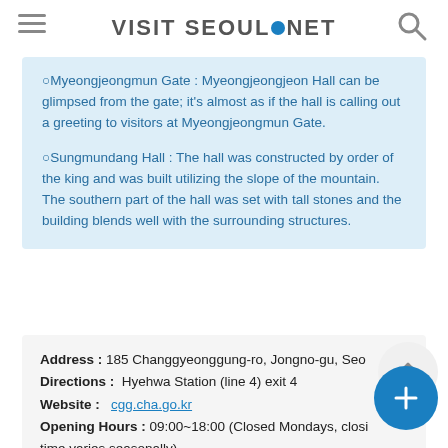VISIT SEOUL.NET
○Myeongjeongmun Gate : Myeongjeongjeon Hall can be glimpsed from the gate; it's almost as if the hall is calling out a greeting to visitors at Myeongjeongmun Gate.
○Sungmundang Hall : The hall was constructed by order of the king and was built utilizing the slope of the mountain. The southern part of the hall was set with tall stones and the building blends well with the surrounding structures.
Address : 185 Changgyeonggung-ro, Jongno-gu, Seoul
Directions : Hyehwa Station (line 4) exit 4
Website : cgg.cha.go.kr
Opening Hours : 09:00~18:00 (Closed Mondays, closing time varies seasonally)